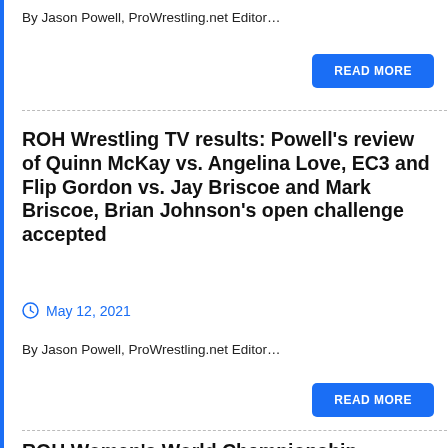By Jason Powell, ProWrestling.net Editor…
READ MORE
ROH Wrestling TV results: Powell's review of Quinn McKay vs. Angelina Love, EC3 and Flip Gordon vs. Jay Briscoe and Mark Briscoe, Brian Johnson's open challenge accepted
May 12, 2021
By Jason Powell, ProWrestling.net Editor…
READ MORE
ROH Women's World Championship